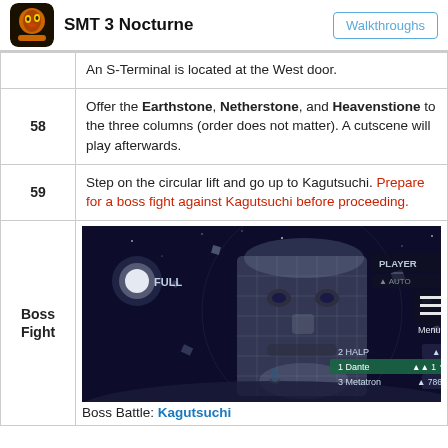SMT 3 Nocturne — Walkthroughs
| # | Content |
| --- | --- |
|  | An S-Terminal is located at the West door. |
| 58 | Offer the Earthstone, Netherstone, and Heavenstione to the three columns (order does not matter). A cutscene will play afterwards. |
| 59 | Step on the circular lift and go up to Kagutsuchi. Prepare for a boss fight against Kagutsuchi before proceeding. |
| Boss Fight | [screenshot] Boss Battle: Kagutsuchi |
[Figure (screenshot): In-game screenshot showing Kagutsuchi boss encounter in SMT 3 Nocturne with party members HALP, Dante, and Metatron displayed at bottom]
Boss Battle: Kagutsuchi